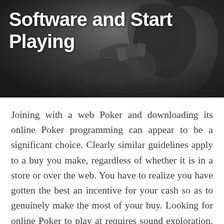[Figure (photo): Dark greyscale background image of a person holding playing cards, used as a header banner]
Software and Start Playing
Joining with a web Poker and downloading its online Poker programming can appear to be a significant choice. Clearly similar guidelines apply to a buy you make, regardless of whether it is in a store or over the web. You have to realize you have gotten the best an incentive for your cash so as to genuinely make the most of your buy. Looking for online Poker to play at requires sound exploration. Right off the bat, you